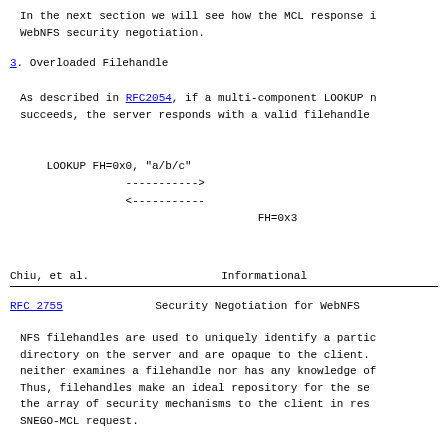In the next section we will see how the MCL response i WebNFS security negotiation.
3. Overloaded Filehandle
As described in RFC2054, if a multi-component LOOKUP n succeeds, the server responds with a valid filehandle
LOOKUP FH=0x0, "a/b/c"
            ----------->
            <-----------
                                    FH=0x3
Chiu, et al.                    Informational
RFC 2755             Security Negotiation for WebNFS
NFS filehandles are used to uniquely identify a partic directory on the server and are opaque to the client. neither examines a filehandle nor has any knowledge of Thus, filehandles make an ideal repository for the se the array of security mechanisms to the client in res SNEGO-MCL request.